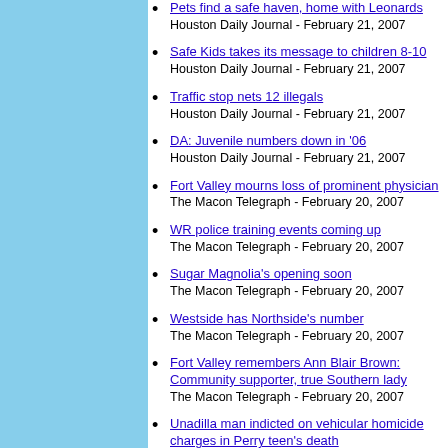Pets find a safe haven, home with Leonards
Houston Daily Journal - February 21, 2007
Safe Kids takes its message to children 8-10
Houston Daily Journal - February 21, 2007
Traffic stop nets 12 illegals
Houston Daily Journal - February 21, 2007
DA: Juvenile numbers down in '06
Houston Daily Journal - February 21, 2007
Fort Valley mourns loss of prominent physician
The Macon Telegraph - February 20, 2007
WR police training events coming up
The Macon Telegraph - February 20, 2007
Sugar Magnolia's opening soon
The Macon Telegraph - February 20, 2007
Westside has Northside's number
The Macon Telegraph - February 20, 2007
Fort Valley remembers Ann Blair Brown: Community supporter, true Southern lady
The Macon Telegraph - February 20, 2007
Unadilla man indicted on vehicular homicide charges in Perry teen's death
The Macon Telegraph - February 20, 2007